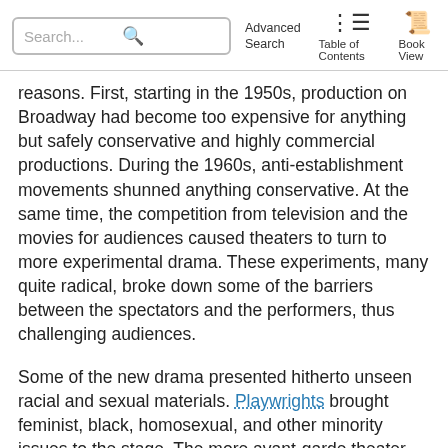Search... [Advanced Search] [Table of Contents] [Book View]
reasons. First, starting in the 1950s, production on Broadway had become too expensive for anything but safely conservative and highly commercial productions. During the 1960s, anti-establishment movements shunned anything conservative. At the same time, the competition from television and the movies for audiences caused theaters to turn to more experimental drama. These experiments, many quite radical, broke down some of the barriers between the spectators and the performers, thus challenging audiences.
Some of the new drama presented hitherto unseen racial and sexual materials. Playwrights brought feminist, black, homosexual, and other minority issues to the stage. The more avant-garde theater companies that were established in this time period became known as off-off-Broadway. While the openness to any subject or form resulted in some positive creative growth